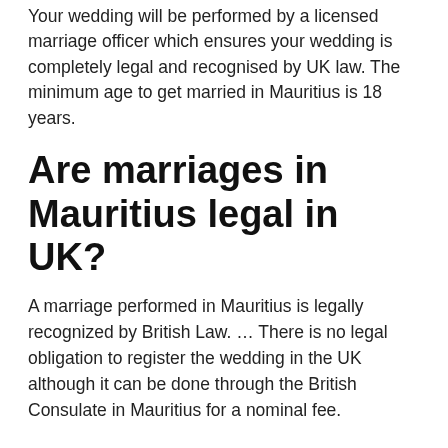Your wedding will be performed by a licensed marriage officer which ensures your wedding is completely legal and recognised by UK law. The minimum age to get married in Mauritius is 18 years.
Are marriages in Mauritius legal in UK?
A marriage performed in Mauritius is legally recognized by British Law. … There is no legal obligation to register the wedding in the UK although it can be done through the British Consulate in Mauritius for a nominal fee.
Can a spouse work in Mauritius?